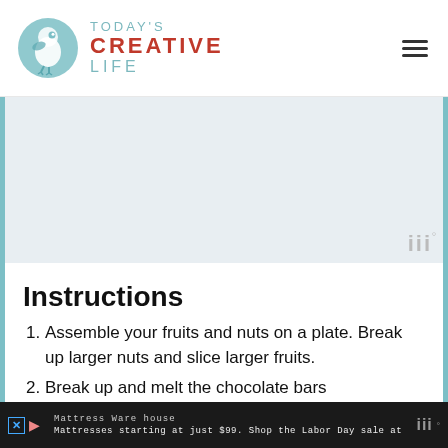[Figure (logo): Today's Creative Life logo with teal bird circle icon and text 'TODAY'S CREATIVE LIFE']
[Figure (other): Placeholder image area with Wordmark watermark]
Instructions
Assemble your fruits and nuts on a plate. Break up larger nuts and slice larger fruits.
Break up and melt the chocolate bars
Mattress Warehouse — Mattresses starting at just $99. Shop the Labor Day sale at Mattress Warehouse.